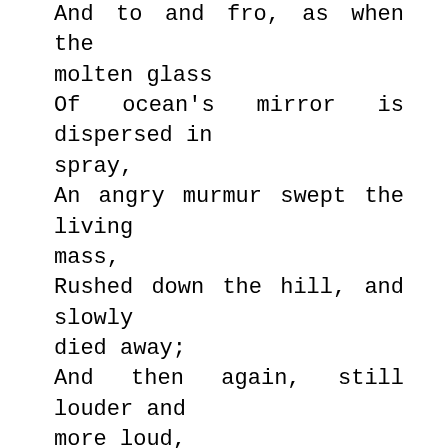And to and fro, as when the molten glass Of ocean's mirror is dispersed in spray, An angry murmur swept the living mass, Rushed down the hill, and slowly died away; And then again, still louder and more loud, It burst into a shout from all the crowd. At length a movement on the western side, Proclaimed the object of their rage at hand; And like a vessel steering through the tide, A cart, surrounded by a martial band,